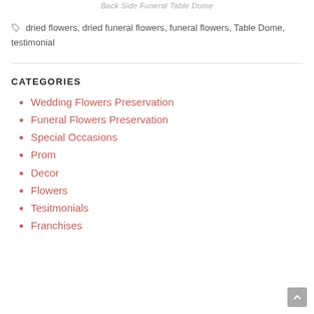Back Side Funeral Table Dome
dried flowers, dried funeral flowers, funeral flowers, Table Dome, testimonial
CATEGORIES
Wedding Flowers Preservation
Funeral Flowers Preservation
Special Occasions
Prom
Decor
Flowers
Tesitmonials
Franchises